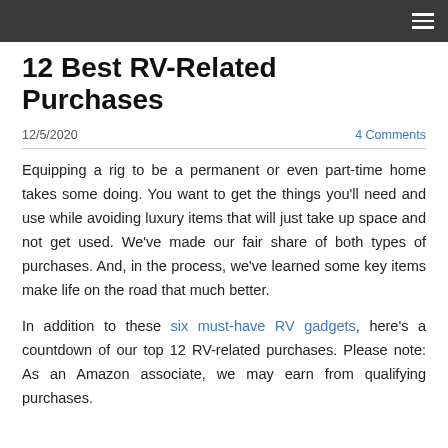12 Best RV-Related Purchases
12/5/2020    4 Comments
Equipping a rig to be a permanent or even part-time home takes some doing. You want to get the things you'll need and use while avoiding luxury items that will just take up space and not get used. We've made our fair share of both types of purchases. And, in the process, we've learned some key items make life on the road that much better.
In addition to these six must-have RV gadgets, here's a countdown of our top 12 RV-related purchases. Please note: As an Amazon associate, we may earn from qualifying purchases.